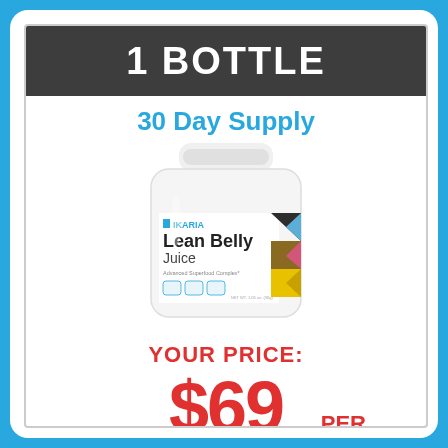1 BOTTLE
30 Day Supply
[Figure (photo): White cylindrical supplement container labeled IKARIA Lean Belly Juice, Advanced Superfood Complex, with colorful geometric pattern on the right side of the label]
YOUR PRICE:
$69 PER